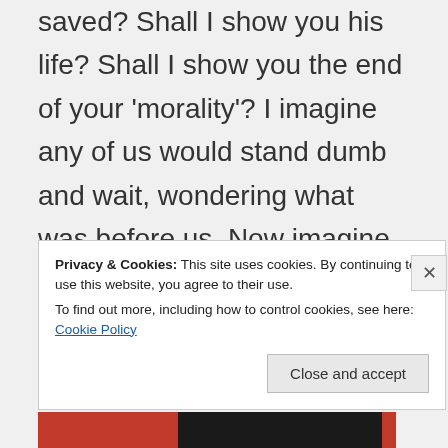saved? Shall I show you his life? Shall I show you the end of your 'morality'? I imagine any of us would stand dumb and wait, wondering what was before us. Now imagine that he shows you that you saved Hannibal, that
Privacy & Cookies: This site uses cookies. By continuing to use this website, you agree to their use. To find out more, including how to control cookies, see here: Cookie Policy